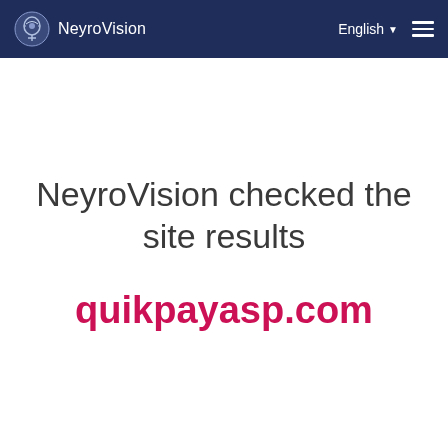NeyroVision  English  ☰
NeyroVision checked the site results
quikpayasp.com